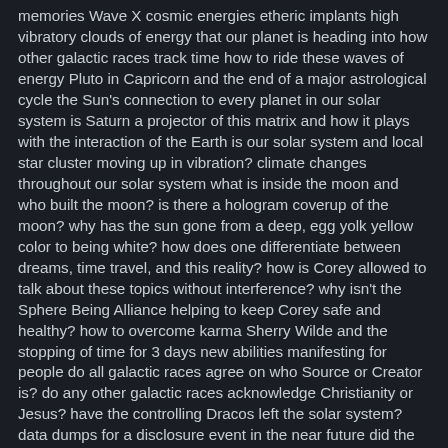memories Wave X cosmic energies etheric implants high vibratory clouds of energy that our planet is heading into how other galactic races track time how to ride these waves of energy Pluto in Capricorn and the end of a major astrological cycle the Sun's connection to every planet in our solar system is Saturn a projector of this matrix and how it plays with the interaction of the Earth is our solar system and local star cluster moving up in vibration? climate changes throughout our solar system what is inside the moon and who built the moon? is there a hologram coverup of the moon? why has the sun gone from a deep, egg yolk yellow color to being white? how does one differentiate between dreams, time travel, and this reality? how is Corey allowed to talk about these topics without interference? why isn't the Sphere Being Alliance helping to keep Corey safe and healthy? how to overcome karma Sherry Wilde and the stopping of time for 3 days new abilities manifesting for people do all galactic races agree on who Source or Creator is? do any other galactic races acknowledge Christianity or Jesus? have the controlling Dracos left the solar system? data dumps for a disclosure event in the near future did the Earth's consciousness know she would be used to trap Dracos? when will this current shift be in full force? Matt Kahn's September 28th ascension date and the September 23rd ascension date how this shift's transition will play out the catalyzing event that leads to disclosure do any other galactic civilizations use money and religion as forms of